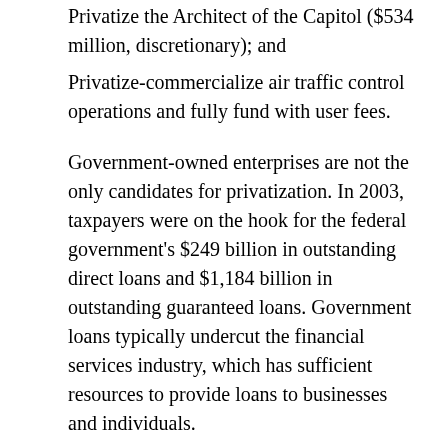Privatize the Architect of the Capitol ($534 million, discretionary); and
Privatize-commercialize air traffic control operations and fully fund with user fees.
Government-owned enterprises are not the only candidates for privatization. In 2003, taxpayers were on the hook for the federal government's $249 billion in outstanding direct loans and $1,184 billion in outstanding guaranteed loans. Government loans typically undercut the financial services industry, which has sufficient resources to provide loans to businesses and individuals.
Even worse, government often serves as a lender of